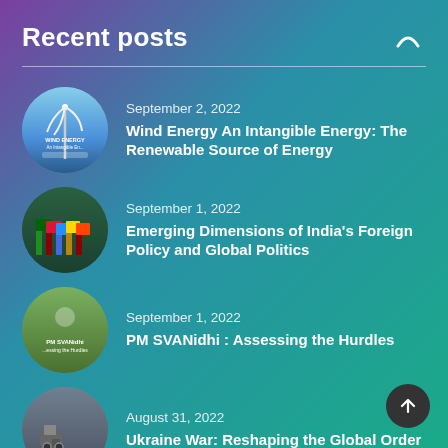Recent posts
September 2, 2022 — Wind Energy An Intangible Energy: The Renewable Source of Energy
September 1, 2022 — Emerging Dimensions of India's Foreign Policy and Global Politics
September 1, 2022 — PM SVANidhi : Assessing the Hurdles
August 31, 2022 — Ukraine War: Reshaping the Global Order